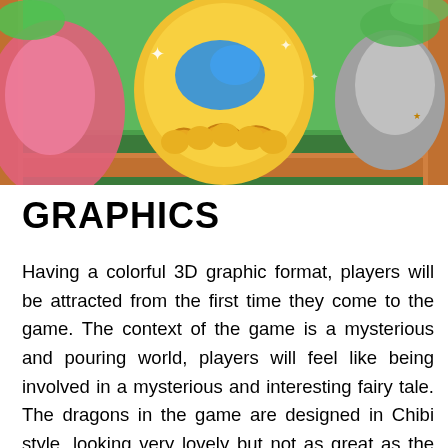[Figure (illustration): Colorful 3D game screenshot showing dragon eggs and fantasy characters in a wooden frame setting with green background]
GRAPHICS
Having a colorful 3D graphic format, players will be attracted from the first time they come to the game. The context of the game is a mysterious and pouring world, players will feel like being involved in a mysterious and interesting fairy tale. The dragons in the game are designed in Chibi style, looking very lovely but not as great as the dragons in movies. Each dragon will have different colors depending on their properties. Eg, fire-dragon is red or elemental dragons of water will be blue ...